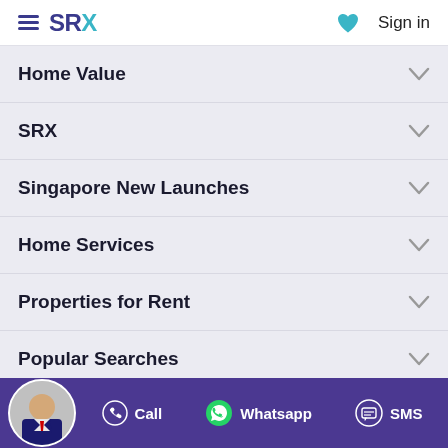SRX — Sign in
Home Value
SRX
Singapore New Launches
Home Services
Properties for Rent
Popular Searches
Popular Areas in Singapore
Call   Whatsapp   SMS